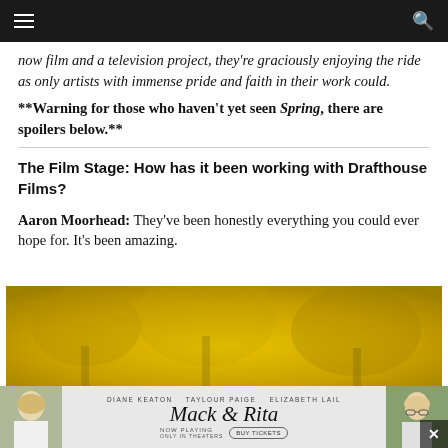Navigation bar with hamburger menu and search icon
now film and a television project, they're graciously enjoying the ride as only artists with immense pride and faith in their work could.
**Warning for those who haven't yet seen Spring, there are spoilers below.**
The Film Stage: How has it been working with Drafthouse Films?
Aaron Moorhead: They've been honestly everything you could ever hope for. It's been amazing.
[Figure (photo): Yellow/golden toned advertisement image for the film Mack & Rita with actors Diane Keaton, Taylour Paige, Elizabeth Lail]
[Figure (photo): Mack & Rita movie advertisement banner showing actors and NOW PLAYING with BUY TICKETS button]